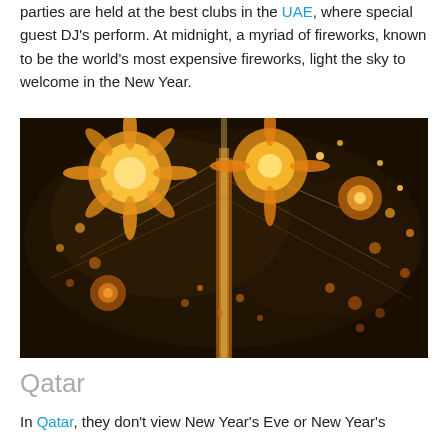entertainers dazzle diners whilst they eat. Alternatively, big parties are held at the best clubs in the UAE, where special guest DJ's perform. At midnight, a myriad of fireworks, known to be the world's most expensive fireworks, light the sky to welcome in the New Year.
[Figure (photo): Fireworks display at night showing golden and orange fireworks bursting against a dark sky, likely from the Burj Khalifa in Dubai.]
Qatar
In Qatar, they don't view New Year's Eve or New Year's Day as public holidays, as they do...